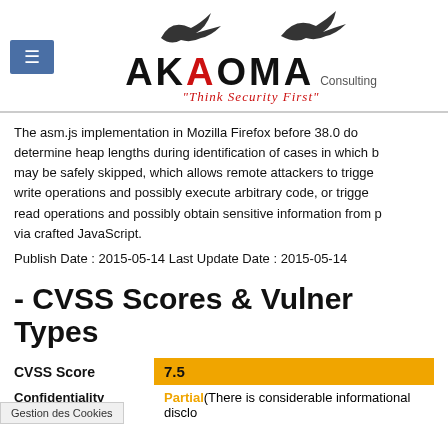[Figure (logo): Akaoma Consulting logo with eagle/bird silhouette, tagline 'Think Security First', hamburger menu button on left]
The asm.js implementation in Mozilla Firefox before 38.0 does not properly determine heap lengths during identification of cases in which boundary checks may be safely skipped, which allows remote attackers to trigger out-of-bounds write operations and possibly execute arbitrary code, or trigger out-of-bounds read operations and possibly obtain sensitive information from process memory via crafted JavaScript.
Publish Date : 2015-05-14 Last Update Date : 2015-05-14
- CVSS Scores & Vulnerability Types
|  |  |
| --- | --- |
| CVSS Score | 7.5 |
| Confidentiality Impact | Partial(There is considerable informational disclo... |